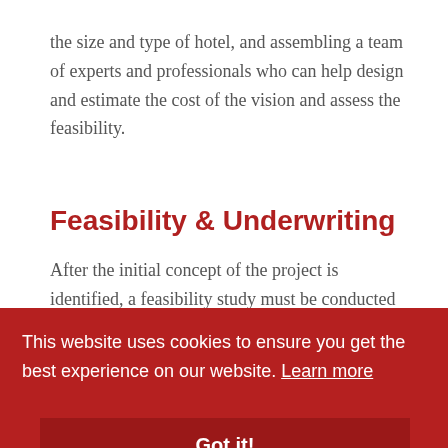the size and type of hotel, and assembling a team of experts and professionals who can help design and estimate the cost of the vision and assess the feasibility.
Feasibility & Underwriting
After the initial concept of the project is identified, a feasibility study must be conducted in order to determine if the concept will be able to make a sufficient return on investment before carrying out the project? Sometimes the feasibility study indicates that, while the initial concept most likely would not provide a strong return, tweaking some element could result in a successful investment. Changes could
This website uses cookies to ensure you get the best experience on our website. Learn more
Got it!